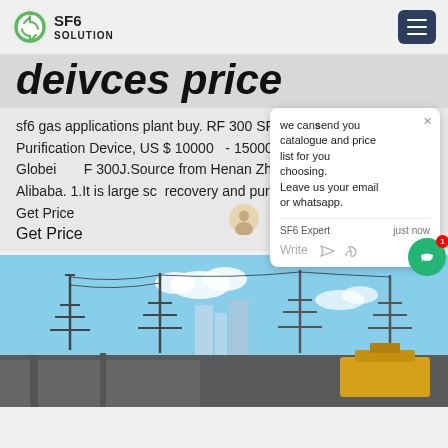SF6 SOLUTION
deivces price
sf6 gas applications plant buy. RF 300 SF6 Recycling and Purification Device, US $ 100000 - 150000 / Set, Henan, China, Globei RF 300J.Source from Henan Zhiyi Syst ng Co., Ltd. on Alibaba. 1.It is large sca recovery and purification treatment,
Get Price
Get Price
[Figure (screenshot): Chat popup overlay with text: we can send you catalogue and price list for you choosing. Leave us your email or whatsapp. SF6 Expert just now. Write.]
[Figure (photo): Electrical substation with high-voltage transmission towers and power lines against a blue sky, with yellow equipment in the lower right.]